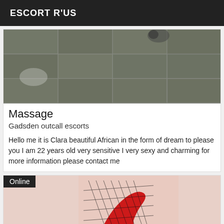ESCORT R'US
[Figure (photo): Photo of tiled floor, overhead view showing grey/dark tile grid pattern]
Massage
Gadsden outcall escorts
Hello me it is Clara beautiful African in the form of dream to please you I am 22 years old very sensitive I very sexy and charming for more information please contact me
[Figure (photo): Photo showing red high heel shoe with black fishnet stocking, against light pink/beige background. Has 'Online' badge overlay.]